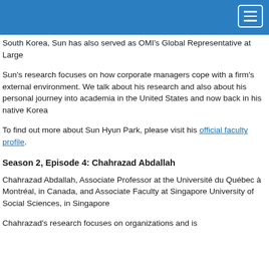South Korea, Sun has also served as OMI's Global Representative at Large
Sun's research focuses on how corporate managers cope with a firm's external environment. We talk about his research and also about his personal journey into academia in the United States and now back in his native Korea
To find out more about Sun Hyun Park, please visit his official faculty profile.
Season 2, Episode 4: Chahrazad Abdallah
Chahrazad Abdallah, Associate Professor at the Université du Québec à Montréal, in Canada, and Associate Faculty at Singapore University of Social Sciences, in Singapore
Chahrazad's research focuses on organizations and is...